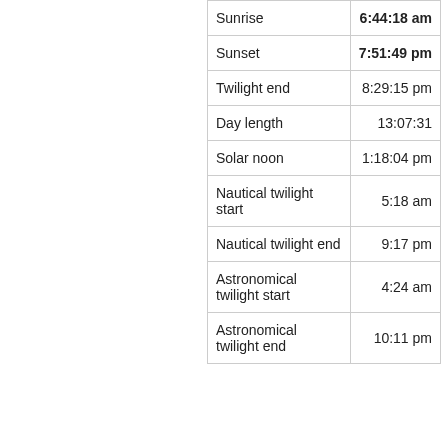|  |  |
| --- | --- |
| Sunrise | 6:44:18 am |
| Sunset | 7:51:49 pm |
| Twilight end | 8:29:15 pm |
| Day length | 13:07:31 |
| Solar noon | 1:18:04 pm |
| Nautical twilight start | 5:18 am |
| Nautical twilight end | 9:17 pm |
| Astronomical twilight start | 4:24 am |
| Astronomical twilight end | 10:11 pm |